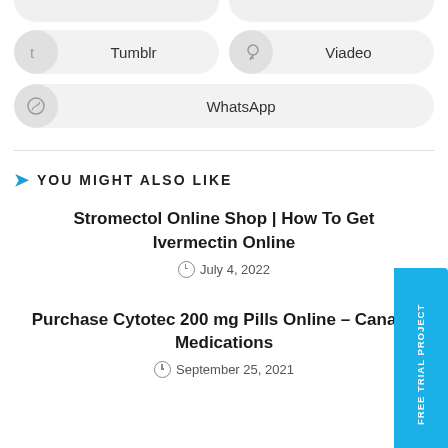[Figure (screenshot): Partial social sharing buttons at top of page (cropped)]
Tumblr
Viadeo
WhatsApp
YOU MIGHT ALSO LIKE
Stromectol Online Shop | How To Get Ivermectin Online
July 4, 2022
Purchase Cytotec 200 mg Pills Online – Canada Medications
September 25, 2021